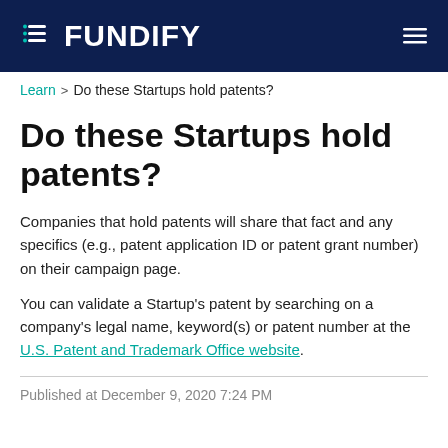FUNDIFY
Learn > Do these Startups hold patents?
Do these Startups hold patents?
Companies that hold patents will share that fact and any specifics (e.g., patent application ID or patent grant number) on their campaign page.
You can validate a Startup's patent by searching on a company's legal name, keyword(s) or patent number at the U.S. Patent and Trademark Office website.
Published at December 9, 2020 7:24 PM